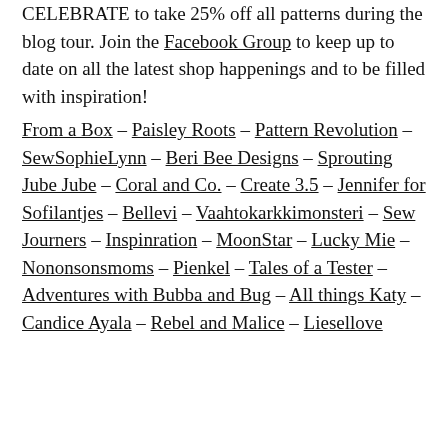CELEBRATE to take 25% off all patterns during the blog tour. Join the Facebook Group to keep up to date on all the latest shop happenings and to be filled with inspiration!
From a Box – Paisley Roots – Pattern Revolution – SewSophieLynn – Beri Bee Designs – Sprouting Jube Jube – Coral and Co. – Create 3.5 – Jennifer for Sofilantjes – Bellevi – Vaahtokarkkimonsteri – Sew Journers – Inspinration – MoonStar – Lucky Mie – Nononsonsmoms – Pienkel – Tales of a Tester – Adventures with Bubba and Bug – All things Katy – Candice Ayala – Rebel and Malice – Liesellove